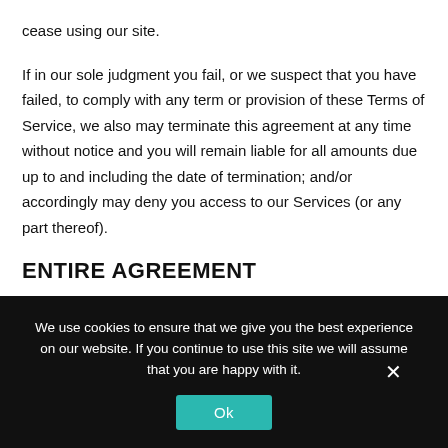cease using our site.
If in our sole judgment you fail, or we suspect that you have failed, to comply with any term or provision of these Terms of Service, we also may terminate this agreement at any time without notice and you will remain liable for all amounts due up to and including the date of termination; and/or accordingly may deny you access to our Services (or any part thereof).
ENTIRE AGREEMENT
We use cookies to ensure that we give you the best experience on our website. If you continue to use this site we will assume that you are happy with it.